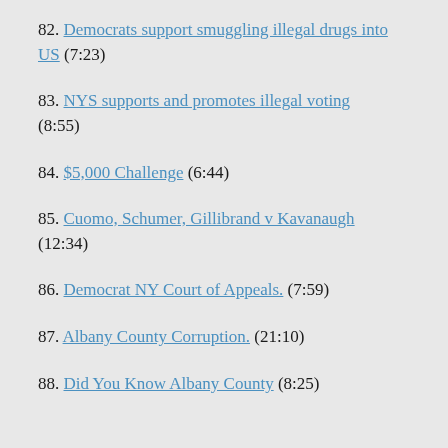82. Democrats support smuggling illegal drugs into US (7:23)
83. NYS supports and promotes illegal voting (8:55)
84. $5,000 Challenge (6:44)
85. Cuomo, Schumer, Gillibrand v Kavanaugh (12:34)
86. Democrat NY Court of Appeals. (7:59)
87. Albany County Corruption. (21:10)
88. Did You Know Albany County (8:25)